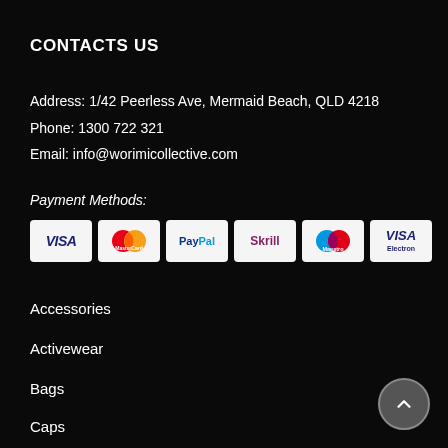CONTACTS US
Address: 1/42 Peerless Ave, Mermaid Beach, QLD 4218
Phone: 1300 722 321
Email: info@worimicollective.com
Payment Methods:
[Figure (infographic): Six payment method icons: VISA, MasterCard, PayPal, Skrill, Maestro, VISA Electron — each shown as white rounded-rectangle cards]
Accessories
Activewear
Bags
Caps